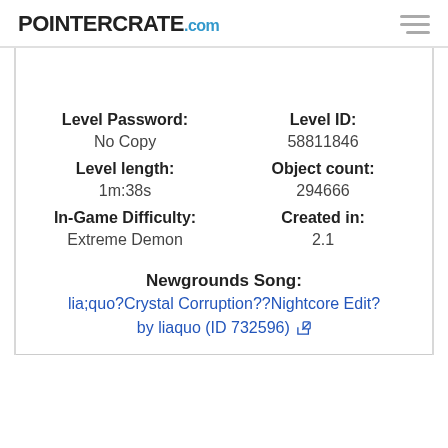POINTERCRATE.com
| Field | Value |
| --- | --- |
| Level Password: | No Copy |
| Level ID: | 58811846 |
| Level length: | 1m:38s |
| Object count: | 294666 |
| In-Game Difficulty: | Extreme Demon |
| Created in: | 2.1 |
| Newgrounds Song: | lia;quo?Crystal Corruption??Nightcore Edit? by liaquo (ID 732596) |